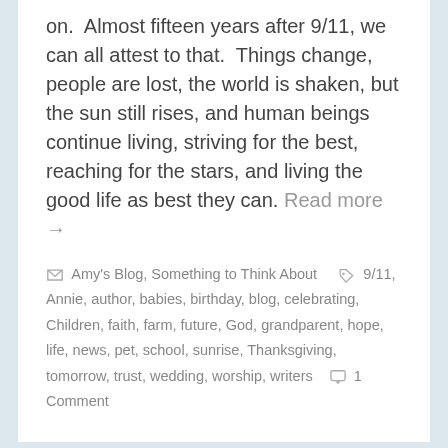on.  Almost fifteen years after 9/11, we can all attest to that.  Things change, people are lost, the world is shaken, but the sun still rises, and human beings continue living, striving for the best, reaching for the stars, and living the good life as best they can. Read more →
Amy's Blog, Something to Think About   9/11, Annie, author, babies, birthday, blog, celebrating, Children, faith, farm, future, God, grandparent, hope, life, news, pet, school, sunrise, Thanksgiving, tomorrow, trust, wedding, worship, writers   1 Comment
Amy's Blog